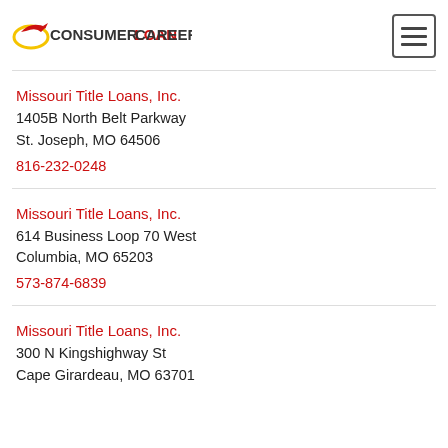CONSUMERLOANCAREERS
Missouri Title Loans, Inc.
1405B North Belt Parkway
St. Joseph, MO 64506
816-232-0248
Missouri Title Loans, Inc.
614 Business Loop 70 West
Columbia, MO 65203
573-874-6839
Missouri Title Loans, Inc.
300 N Kingshighway St
Cape Girardeau, MO 63701